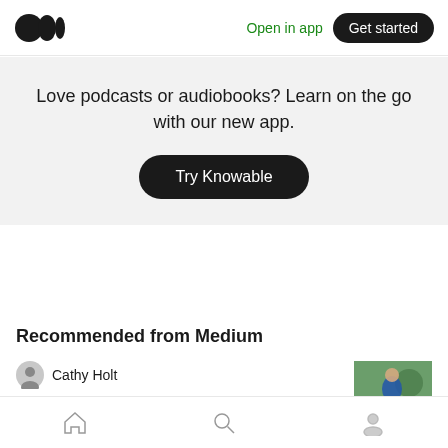Medium logo | Open in app | Get started
Love podcasts or audiobooks? Learn on the go with our new app.
Try Knowable
Recommended from Medium
Cathy Holt
EARTH & US: Planting and tending
Home | Search | Profile